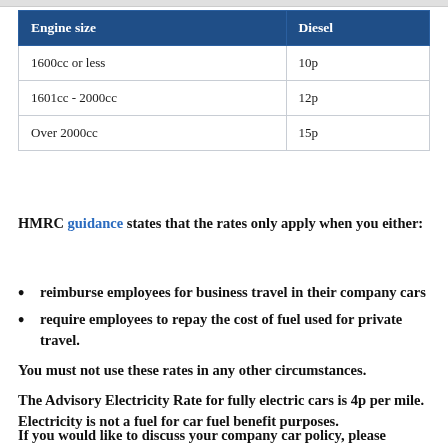| Engine size | Diesel |
| --- | --- |
| 1600cc or less | 10p |
| 1601cc - 2000cc | 12p |
| Over 2000cc | 15p |
HMRC guidance states that the rates only apply when you either:
reimburse employees for business travel in their company cars
require employees to repay the cost of fuel used for private travel.
You must not use these rates in any other circumstances.
The Advisory Electricity Rate for fully electric cars is 4p per mile. Electricity is not a fuel for car fuel benefit purposes.
If you would like to discuss your company car policy, please